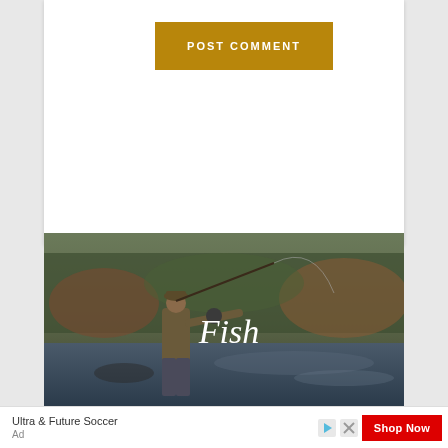[Figure (other): Golden/olive colored POST COMMENT button on white card background]
[Figure (photo): A man fly fishing in a river with trees in the background, with the word 'Fish' overlaid in white italic text]
Ultra & Future Soccer
Ad
[Figure (other): Red Shop Now advertisement button with play and close icons]